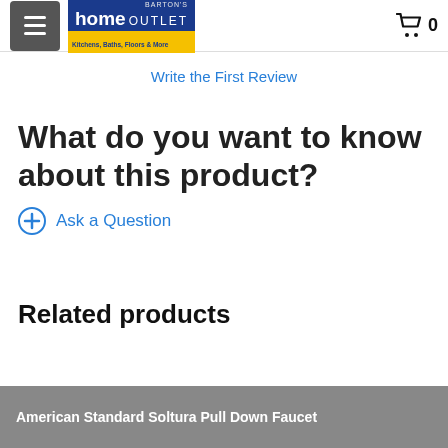Home Outlet — Kitchens, Baths, Floors & More
Write the First Review
What do you want to know about this product?
Ask a Question
Related products
American Standard Soltura Pull Down Faucet